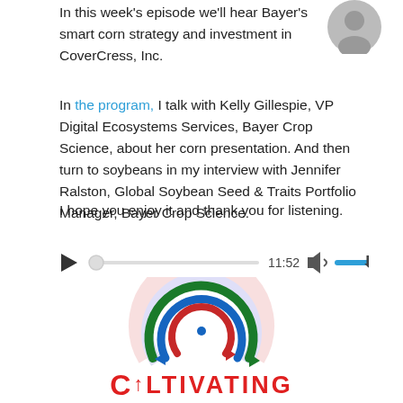In this week's episode we'll hear Bayer's smart corn strategy and investment in CoverCress, Inc.
In the program, I talk with Kelly Gillespie, VP Digital Ecosystems Services, Bayer Crop Science, about her corn presentation. And then turn to soybeans in my interview with Jennifer Ralston, Global Soybean Seed & Traits Portfolio Manager, Bayer Crop Science.
I hope you enjoy it and thank you for listening.
[Figure (screenshot): Audio player widget showing play button, progress bar, time 11:52, volume control, and download icon.]
[Figure (logo): Cultivating logo with concentric circular arrow design in blue, red, and green colors, with the text CULTIVATING below.]